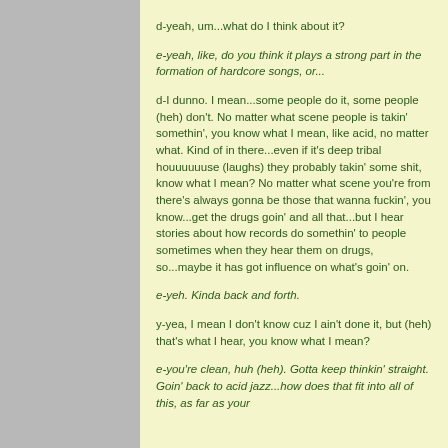d-yeah, um...what do I think about it?
e-yeah, like, do you think it plays a strong part in the formation of hardcore songs, or...
d-I dunno. I mean...some people do it, some people (heh) don't. No matter what scene people is takin' somethin', you know what I mean, like acid, no matter what. Kind of in there...even if it's deep tribal houuuuuuse (laughs) they probably takin' some shit, know what I mean? No matter what scene you're from there's always gonna be those that wanna fuckin', you know...get the drugs goin' and all that...but I hear stories about how records do somethin' to people sometimes when they hear them on drugs, so...maybe it has got influence on what's goin' on.
e-yeh. Kinda back and forth.
y-yea, I mean I don't know cuz I ain't done it, but (heh) that's what I hear, you know what I mean?
e-you're clean, huh (heh). Gotta keep thinkin' straight. Goin' back to acid jazz...how does that fit into all of this, as far as your